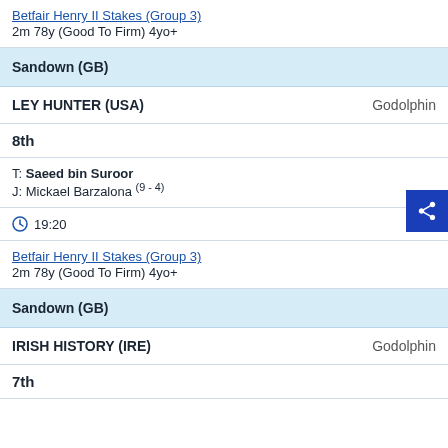Betfair Henry II Stakes (Group 3)
2m 78y (Good To Firm) 4yo+
Sandown (GB)
LEY HUNTER (USA)    Godolphin
8th
T: Saeed bin Suroor
J: Mickael Barzalona (9 - 4)
19:20
Betfair Henry II Stakes (Group 3)
2m 78y (Good To Firm) 4yo+
Sandown (GB)
IRISH HISTORY (IRE)    Godolphin
7th